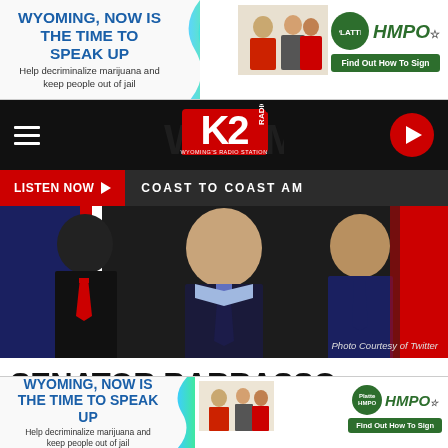[Figure (screenshot): Advertisement banner: 'WYOMING, NOW IS THE TIME TO SPEAK UP - Help decriminalize marijuana and keep people out of jail' with Platte HMPO logo and 'Find Out How To Sign' button]
[Figure (screenshot): K2 Radio navigation bar with hamburger menu, K2 Radio logo, and red play button]
[Figure (screenshot): Red LISTEN NOW button bar with 'COAST TO COAST AM' text]
[Figure (photo): Photo of Senator Barrasso and Mitch McConnell with American flags in background. Caption reads 'Photo Courtesy of Twitter']
Photo Courtesy of Twitter
SENATOR BARRASSO LOOKS ON AS MITCH MCCONNELL SAYS ‘AFRICAN AMERICANS’ VOTE AS MUCH AS ‘AMERICANS’
[Figure (screenshot): Bottom advertisement banner: 'WYOMING, NOW IS THE TIME TO SPEAK UP - Help decriminalize marijuana and keep people out of jail' with Platte HMPO logo and 'Find Out How To Sign' button]